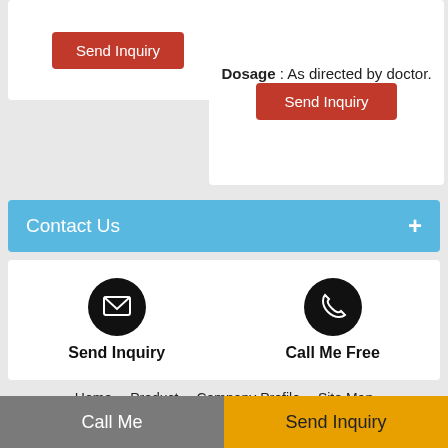Send Inquiry (button, left card)
Dosage : As directed by doctor. Send Inquiry (button, right card)
Contact Us +
[Figure (infographic): Two contact action icons: envelope icon labeled Send Inquiry and phone icon labeled Call Me Free]
Home  Product  Company Profile  Site Map
SAINTROY LIFESCIENCE
All Rights Reserved.(Terms of Use)
Developed and Managed by Infocom Network Private Limited.
Go to Desktop
Call Me   Send Inquiry